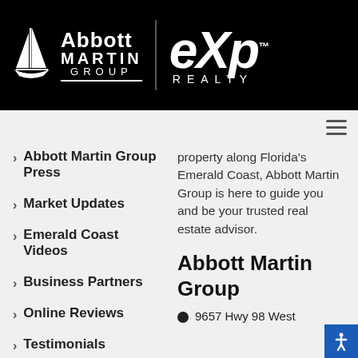[Figure (logo): Abbott Martin Group | eXp Realty logo on black background]
> Abbott Martin Group Press
> Market Updates
> Emerald Coast Videos
> Business Partners
> Online Reviews
> Testimonials
property along Florida's Emerald Coast, Abbott Martin Group is here to guide you and be your trusted real estate advisor.
Abbott Martin Group
9657 Hwy 98 West